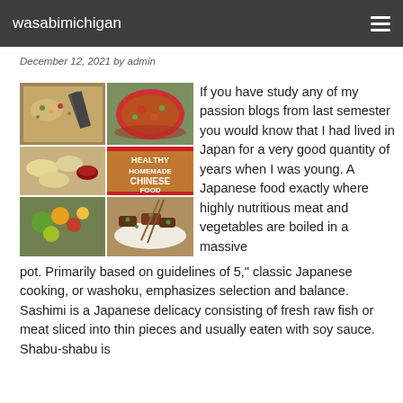wasabimichigan
December 12, 2021 by admin
[Figure (photo): Collage of Chinese food dishes with text overlay reading HEALTHY HOMEMADE CHINESE FOOD]
If you have study any of my passion blogs from last semester you would know that I had lived in Japan for a very good quantity of years when I was young. A Japanese food exactly where highly nutritious meat and vegetables are boiled in a massive pot. Primarily based on guidelines of 5," classic Japanese cooking, or washoku, emphasizes selection and balance. Sashimi is a Japanese delicacy consisting of fresh raw fish or meat sliced into thin pieces and usually eaten with soy sauce. Shabu-shabu is